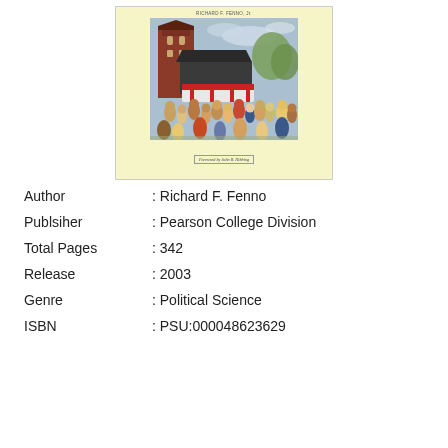[Figure (illustration): Book cover of a political science book by Richard F. Fenno Jr., featuring a painted scene of a crowd gathered outside a building with a red brick tower, with a light yellow background. Foreword by John R. Hibbing.]
| Author | : Richard F. Fenno |
| Publsiher | : Pearson College Division |
| Total Pages | : 342 |
| Release | : 2003 |
| Genre | : Political Science |
| ISBN | : PSU:000048623629 |